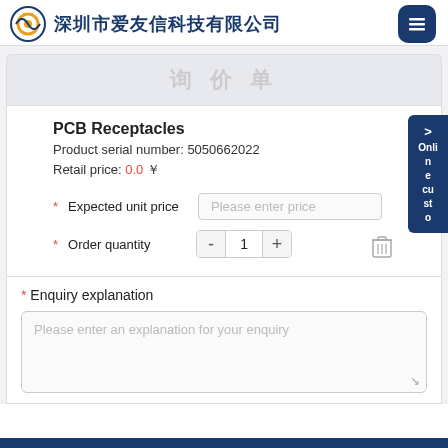深圳市爱友信科技有限公司
PCB Receptacles
Product serial number: 5050662022
Retail price: 0.0
* Expected unit price — Please enter price
*Order quantity — 1
* Enquiry explanation
Please enter an explanation for your enquiry